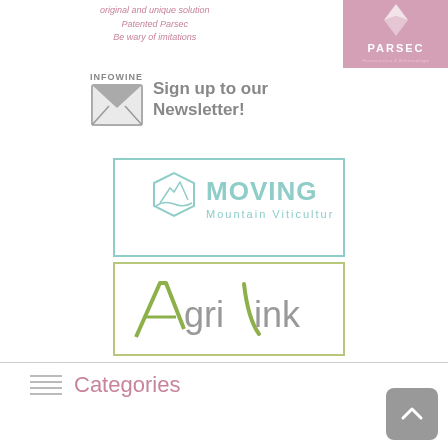[Figure (logo): Parsec brand banner with italic text: 'original and unique solution / Patented Parsec / Be wary of imitations' beside a pink/mauve Parsec logo box]
[Figure (logo): Infowine newsletter sign-up with envelope icon and text 'Sign up to our Newsletter!']
[Figure (logo): Moving Mountain Viticulture logo in teal with hexagonal mountain icon inside a teal-bordered rectangle]
[Figure (logo): AgriLink logo in green and gray lettering inside an olive-bordered rectangle]
Categories